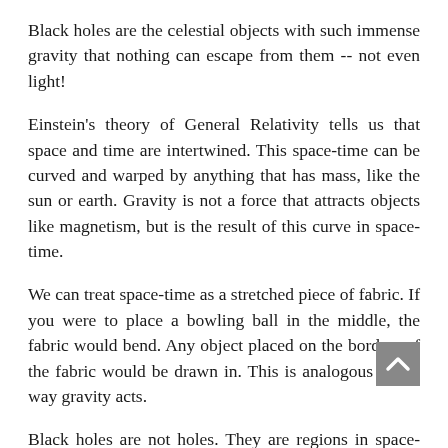Black holes are the celestial objects with such immense gravity that nothing can escape from them -- not even light!
Einstein's theory of General Relativity tells us that space and time are intertwined. This space-time can be curved and warped by anything that has mass, like the sun or earth. Gravity is not a force that attracts objects like magnetism, but is the result of this curve in space-time.
We can treat space-time as a stretched piece of fabric. If you were to place a bowling ball in the middle, the fabric would bend. Any object placed on the borders of the fabric would be drawn in. This is analogous to the way gravity acts.
Black holes are not holes. They are regions in space-time with an extraordinary amount of mass concentrated in a